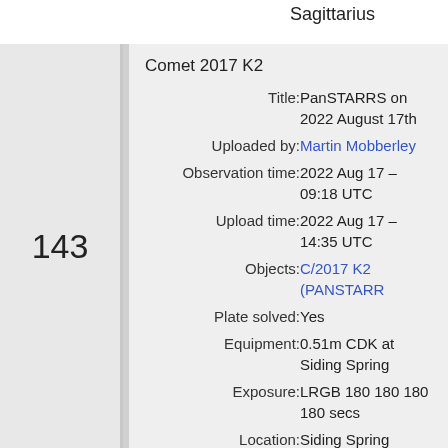Sagittarius
| Comet 2017 K2 |  |
| Title: | PanSTARRS on 2022 August 17th |
| Uploaded by: | Martin Mobberley |
| Observation time: | 2022 Aug 17 – 09:18 UTC |
| Upload time: | 2022 Aug 17 – 14:35 UTC |
| Objects: | C/2017 K2 (PANSTARRS) |
| Plate solved: | Yes |
| Equipment: | 0.51m CDK at Siding Spring |
| Exposure: | LRGB 180 180 180 180 secs |
| Location: | Siding Spring |
143